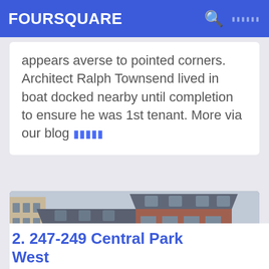FOURSQUARE
appears averse to pointed corners. Architect Ralph Townsend lived in boat docked nearby until completion to ensure he was 1st tenant. More via our blog 〓〓〓〓〓
[Figure (photo): Photograph of historic brownstone and limestone apartment buildings along Central Park West, showing multiple stories with arched windows, mansard roofs, and Victorian-era architectural details. Bare winter trees visible on the left. A traffic light on a pole is visible at the right edge.]
2. 247-249 Central Park West